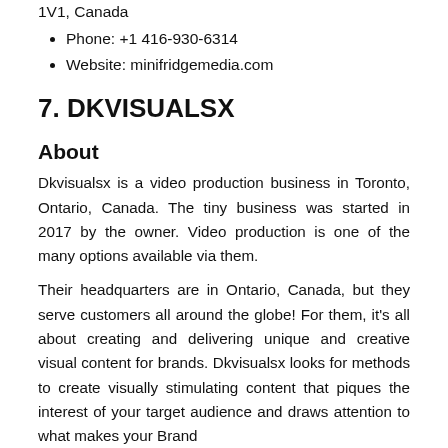1V1, Canada
Phone: +1 416-930-6314
Website: minifridgemedia.com
7. DKVISUALSX
About
Dkvisualsx is a video production business in Toronto, Ontario, Canada. The tiny business was started in 2017 by the owner. Video production is one of the many options available via them.
Their headquarters are in Ontario, Canada, but they serve customers all around the globe! For them, it's all about creating and delivering unique and creative visual content for brands. Dkvisualsx looks for methods to create visually stimulating content that piques the interest of your target audience and draws attention to what makes your Brand